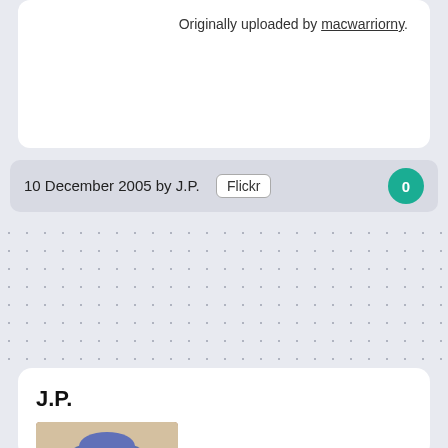Originally uploaded by macwarriorny.
10 December 2005 by J.P.  Flickr  0
J.P.
[Figure (photo): Profile photo of a man wearing a baseball cap and sunglasses outdoors]
Just a guy with a husband. We've been together 26 years and he still makes me see fireworks on a daily basis. Tech Guy. Data Geek. Open Source. Hackerish.